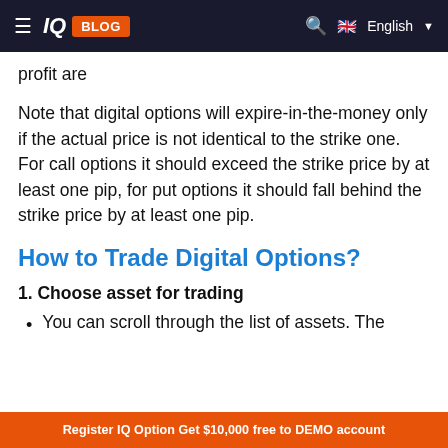IQ BLOG | English
profit are
Note that digital options will expire-in-the-money only if the actual price is not identical to the strike one. For call options it should exceed the strike price by at least one pip, for put options it should fall behind the strike price by at least one pip.
How to Trade Digital Options?
1. Choose asset for trading
You can scroll through the list of assets. The
Register IQ Option Get $10,000 free to DEMO account